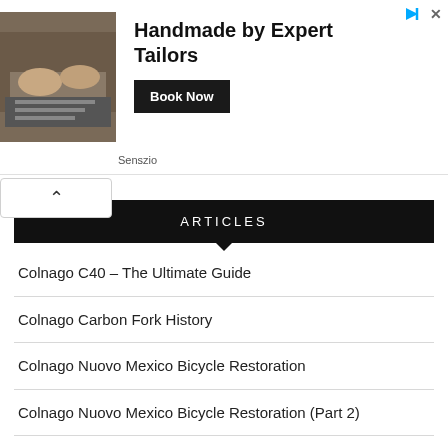[Figure (photo): Advertisement banner with photo of tailor working with fabric, headline 'Handmade by Expert Tailors', 'Book Now' button, and 'Senszio' brand label]
ARTICLES
Colnago C40 – The Ultimate Guide
Colnago Carbon Fork History
Colnago Nuovo Mexico Bicycle Restoration
Colnago Nuovo Mexico Bicycle Restoration (Part 2)
Colnago Nuovo Mexico Bicycle Restoration (Part 3)
Colnago Nuovo Mexico Bicycle Restoration (Part 4)